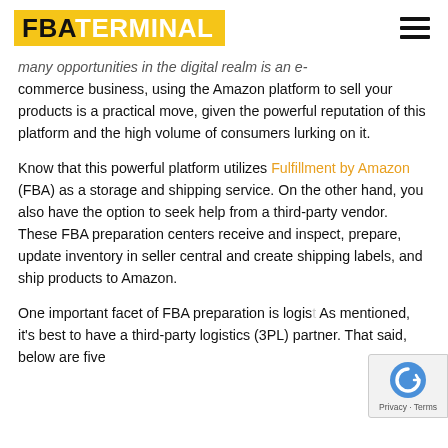FBA TERMINAL
many opportunities in the digital realm is an e-commerce business, using the Amazon platform to sell your products is a practical move, given the powerful reputation of this platform and the high volume of consumers lurking on it.
Know that this powerful platform utilizes Fulfillment by Amazon (FBA) as a storage and shipping service. On the other hand, you also have the option to seek help from a third-party vendor. These FBA preparation centers receive and inspect, prepare, update inventory in seller central and create shipping labels, and ship products to Amazon.
One important facet of FBA preparation is logis... As mentioned, it's best to have a third-party logistics (3PL) partner. That said, below are five